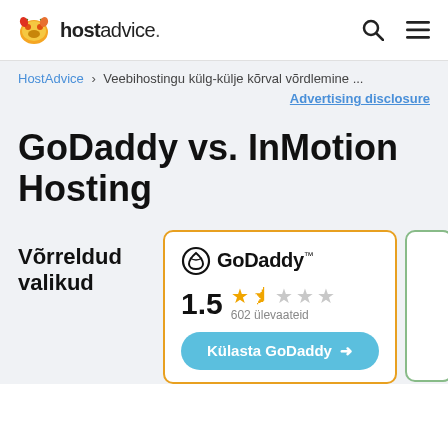hostadvice.
HostAdvice › Veebihostingu külg-külje kõrval võrdlemine ...
Advertising disclosure
GoDaddy vs. InMotion Hosting
Võrreldud valikud
GoDaddy 1.5 602 ülevaateid
Külasta GoDaddy